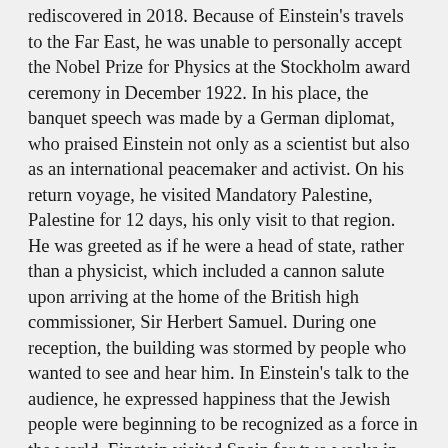rediscovered in 2018. Because of Einstein's travels to the Far East, he was unable to personally accept the Nobel Prize for Physics at the Stockholm award ceremony in December 1922. In his place, the banquet speech was made by a German diplomat, who praised Einstein not only as a scientist but also as an international peacemaker and activist. On his return voyage, he visited Mandatory Palestine, Palestine for 12 days, his only visit to that region. He was greeted as if he were a head of state, rather than a physicist, which included a cannon salute upon arriving at the home of the British high commissioner, Sir Herbert Samuel. During one reception, the building was stormed by people who wanted to see and hear him. In Einstein's talk to the audience, he expressed happiness that the Jewish people were beginning to be recognized as a force in the world. Einstein visited Spain for two weeks in 1923, where he briefly met Santiago Ramón y Cajal and also received a diploma from Alfonso XIII of Spain, King Alfonso XIII naming him a member of the Spanish Academy of Sciences. From 1922 to 1932, Einstein was a member of the International Committee on Intellectual Cooperation of the League of Nations in Geneva (with a few months of interruption in 1923–1924), a body created to promote international exchange between scientists, educators, artists, and intellectuals.